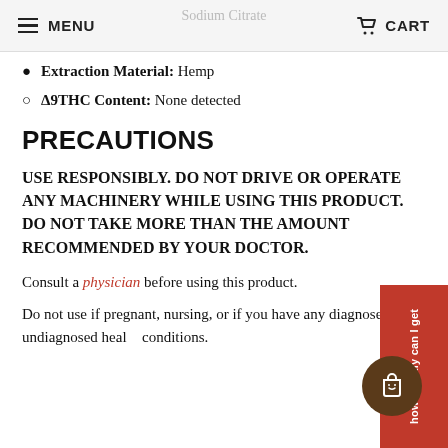MENU  Sodium Citrate  CART
Extraction Material: Hemp
Δ9THC Content: None detected
PRECAUTIONS
USE RESPONSIBLY. DO NOT DRIVE OR OPERATE ANY MACHINERY WHILE USING THIS PRODUCT. DO NOT TAKE MORE THAN THE AMOUNT RECOMMENDED BY YOUR DOCTOR.
Consult a physician before using this product.
Do not use if pregnant, nursing, or if you have any diagnosed or undiagnosed health conditions.